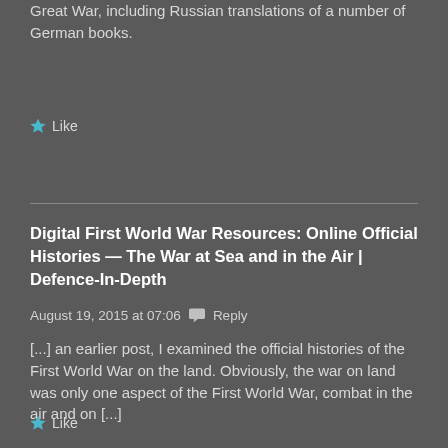Great War, including Russian translations of a number of German books.
★ Like
Digital First World War Resources: Online Official Histories — The War at Sea and in the Air | Defence-In-Depth
August 19, 2015 at 07:06  💬  Reply
[...] an earlier post, I examined the official histories of the First World War on the land. Obviously, the war on land was only one aspect of the First World War, combat in the air and on [...]
★ Like